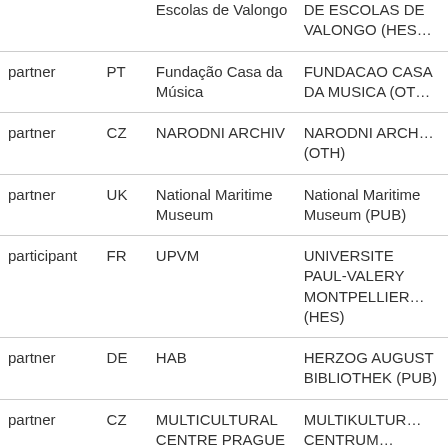| Role | Country | Short Name | Full Name |
| --- | --- | --- | --- |
|  |  | Escolas de Valongo | DE ESCOLAS DE VALONGO (HES… |
| partner | PT | Fundação Casa da Música | FUNDACAO CASA DA MUSICA (OT… |
| partner | CZ | NARODNI ARCHIV | NARODNI ARCH… (OTH) |
| partner | UK | National Maritime Museum | National Maritime Museum (PUB) |
| participant | FR | UPVM | UNIVERSITE PAUL-VALERY MONTPELLIER… (HES) |
| partner | DE | HAB | HERZOG AUGUST BIBLIOTHEK (PUB) |
| partner | CZ | MULTICULTURAL CENTRE PRAGUE | MULTIKULTUR… CENTRUM… |